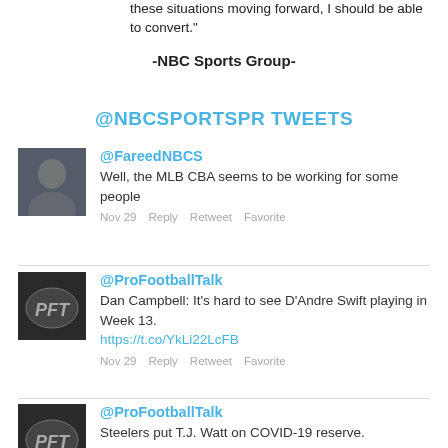these situations moving forward, I should be able to convert.”
-NBC Sports Group-
@NBCSPORTSPR TWEETS
@FareedNBCS
Well, the MLB CBA seems to be working for some people
Nov 29   Reply   Retweet   Favorite
@ProFootballTalk
Dan Campbell: It’s hard to see D’Andre Swift playing in Week 13.
https://t.co/YkLi22LcFB
Nov 29   Reply   Retweet   Favorite
@ProFootballTalk
Steelers put T.J. Watt on COVID-19 reserve. https://t.co/wsa3CSEz7h
Nov 29   Reply   Retweet   Favorite